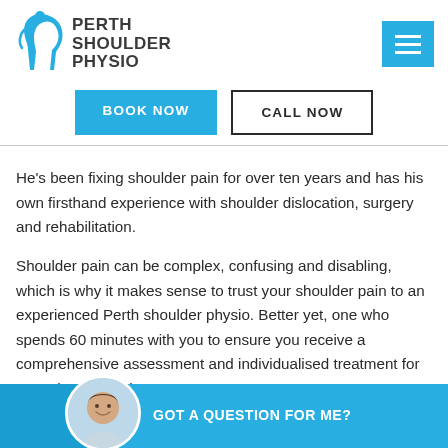[Figure (logo): Perth Shoulder Physio logo with cyan shoulder/figure icon and bold dark text]
[Figure (other): Cyan hamburger menu button with three white horizontal lines]
[Figure (other): Two CTA buttons: blue 'BOOK NOW' and outlined 'CALL NOW']
He's been fixing shoulder pain for over ten years and has his own firsthand experience with shoulder dislocation, surgery and rehabilitation.
Shoulder pain can be complex, confusing and disabling, which is why it makes sense to trust your shoulder pain to an experienced Perth shoulder physio. Better yet, one who spends 60 minutes with you to ensure you receive a comprehensive assessment and individualised treatment for your shoulder pain.
[Figure (photo): Circular photo of a smiling male physio on a cyan bar with text 'GOT A QUESTION FOR ME?']